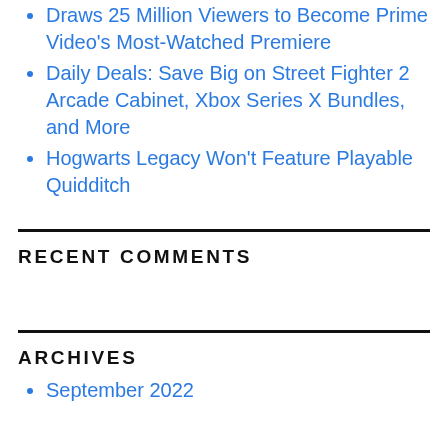Draws 25 Million Viewers to Become Prime Video's Most-Watched Premiere
Daily Deals: Save Big on Street Fighter 2 Arcade Cabinet, Xbox Series X Bundles, and More
Hogwarts Legacy Won't Feature Playable Quidditch
RECENT COMMENTS
ARCHIVES
September 2022